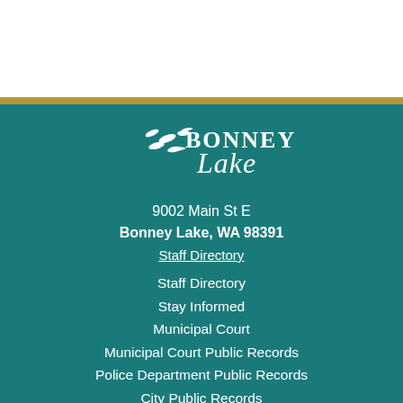[Figure (logo): Bonney Lake city logo with birds and script text]
9002 Main St E
Bonney Lake, WA 98391
Staff Directory
Staff Directory
Stay Informed
Municipal Court
Municipal Court Public Records
Police Department Public Records
City Public Records
Employment
Legal Notices